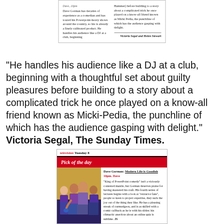[Figure (screenshot): Newspaper clipping showing a review of Dave Gorman show with text columns and byline 'Victoria Segal and Helen Stewart']
"He handles his audience like a DJ at a club, beginning with a thoughtful set about guilty pleasures before building to a story about a complicated trick he once played on a know-all friend known as Micki-Pedia, the punchline of which has the audience gasping with delight." Victoria Segal, The Sunday Times.
[Figure (screenshot): Newspaper clipping: television Tuesday 8, Pick of the day - Dave Gorman: Modern Life is Goodish 10pm, Dave. Review text about PowerPoint comedy, extractor fans, curmudgeon streak, comic callback, online quiz anecdote. Initials JS.]